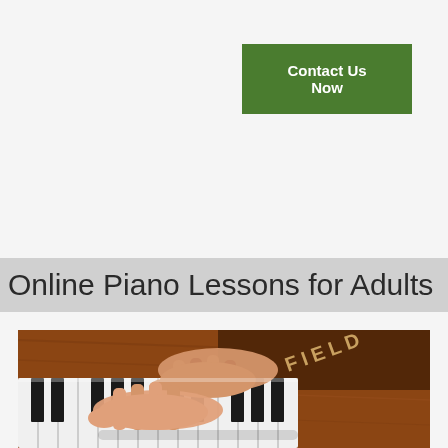Contact Us Now
Online Piano Lessons for Adults
[Figure (photo): Hands playing piano keys on an upright piano with wooden cabinet, close-up shot showing two hands on black and white keys]